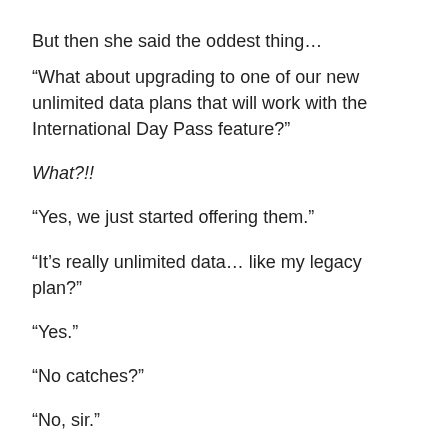But then she said the oddest thing…
“What about upgrading to one of our new unlimited data plans that will work with the International Day Pass feature?”
What?!!
“Yes, we just started offering them.”
“It’s really unlimited data… like my legacy plan?”
“Yes.”
“No catches?”
“No, sir.”
“Wow.”